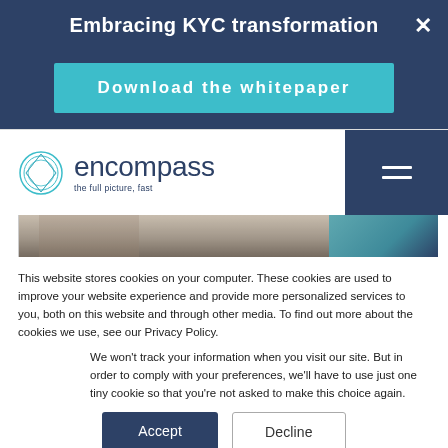Embracing KYC transformation
Download the whitepaper
[Figure (screenshot): Encompass website header with logo and hamburger menu, partially visible hero image of a person]
This website stores cookies on your computer. These cookies are used to improve your website experience and provide more personalized services to you, both on this website and through other media. To find out more about the cookies we use, see our Privacy Policy.
We won't track your information when you visit our site. But in order to comply with your preferences, we'll have to use just one tiny cookie so that you're not asked to make this choice again.
Accept
Decline